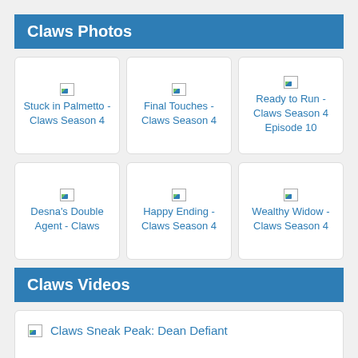Claws Photos
[Figure (photo): Broken image placeholder for Stuck in Palmetto - Claws Season 4]
[Figure (photo): Broken image placeholder for Final Touches - Claws Season 4]
[Figure (photo): Broken image placeholder for Ready to Run - Claws Season 4 Episode 10]
[Figure (photo): Broken image placeholder for Desna's Double Agent - Claws]
[Figure (photo): Broken image placeholder for Happy Ending - Claws Season 4]
[Figure (photo): Broken image placeholder for Wealthy Widow - Claws Season 4]
Claws Videos
[Figure (photo): Broken image placeholder for Claws Sneak Peak: Dean Defiant]